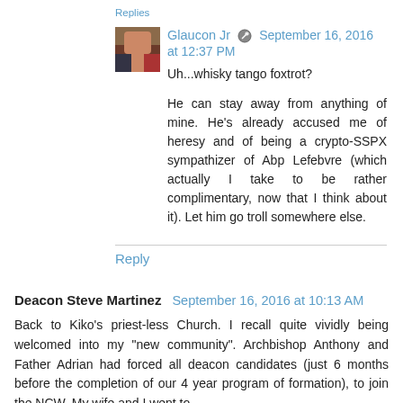Replies
Glaucon Jr  September 16, 2016 at 12:37 PM
Uh...whisky tango foxtrot?

He can stay away from anything of mine. He's already accused me of heresy and of being a crypto-SSPX sympathizer of Abp Lefebvre (which actually I take to be rather complimentary, now that I think about it). Let him go troll somewhere else.
Reply
Deacon Steve Martinez  September 16, 2016 at 10:13 AM
Back to Kiko's priest-less Church. I recall quite vividly being welcomed into my "new community". Archbishop Anthony and Father Adrian had forced all deacon candidates (just 6 months before the completion of our 4 year program of formation), to join the NCW. My wife and I went to